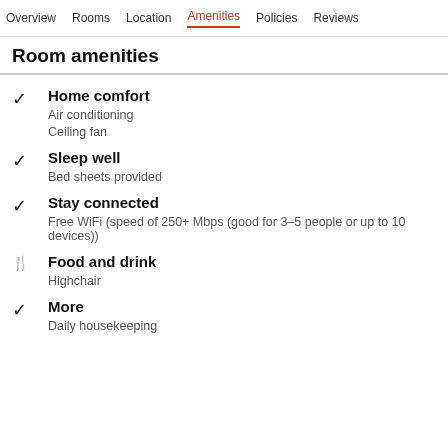Overview   Rooms   Location   Amenities   Policies   Reviews
Room amenities
Home comfort
Air conditioning
Ceiling fan
Sleep well
Bed sheets provided
Stay connected
Free WiFi (speed of 250+ Mbps (good for 3–5 people or up to 10 devices))
Food and drink
Highchair
More
Daily housekeeping